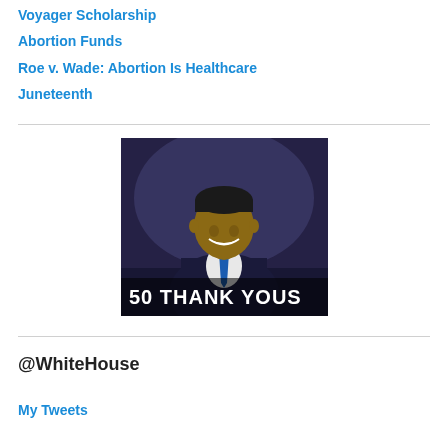Voyager Scholarship
Abortion Funds
Roe v. Wade: Abortion Is Healthcare
Juneteenth
[Figure (photo): Photo of a smiling man in a dark suit with blue tie, with text overlay reading '50 THANK YOUS']
@WhiteHouse
My Tweets